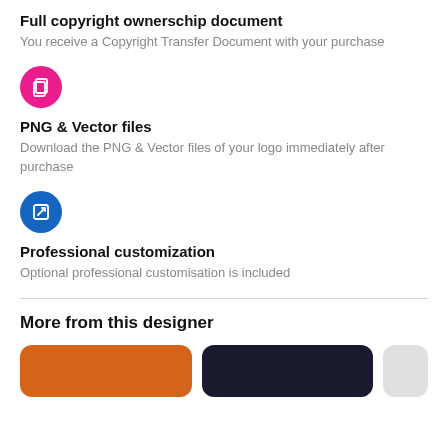Full copyright ownerschip document
You receive a Copyright Transfer Document with your purchase
[Figure (illustration): Pink circle icon with document/copy files symbol in white]
PNG & Vector files
Download the PNG & Vector files of your logo immediately after purchase
[Figure (illustration): Blue circle icon with pencil/edit symbol in white]
Professional customization
Optional professional customisation is included
More from this designer
[Figure (illustration): Row of designer thumbnail previews: orange rounded rectangle, dark navy rounded rectangle, light grey partial rectangle]